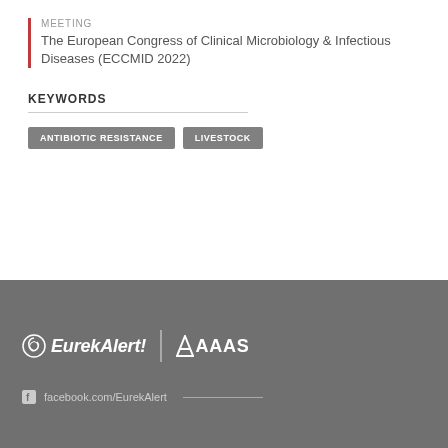MEETING
The European Congress of Clinical Microbiology & Infectious Diseases (ECCMID 2022)
KEYWORDS
ANTIBIOTIC RESISTANCE
LIVESTOCK
[Figure (logo): EurekAlert! and AAAS logos in white on grey background]
facebook.com/EurekAlert